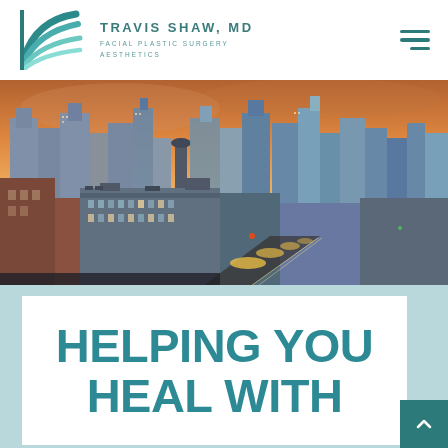TRAVIS SHAW, MD | FACIAL PLASTIC SURGERY AESTHETICS
[Figure (photo): Aerial cityscape at dusk with orange/purple sky, city skyline with skyscrapers and illuminated street]
HELPING YOU HEAL WITH